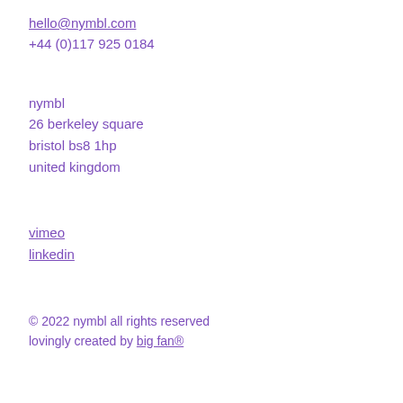hello@nymbl.com
+44 (0)117 925 0184
nymbl
26 berkeley square
bristol bs8 1hp
united kingdom
vimeo
linkedin
© 2022 nymbl all rights reserved
lovingly created by big fan®